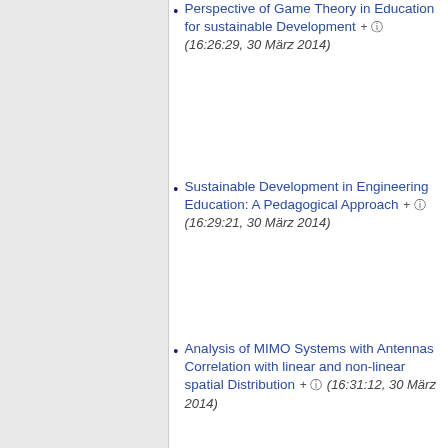Perspective of Game Theory in Education for sustainable Development + (16:26:29, 30 März 2014)
Sustainable Development in Engineering Education: A Pedagogical Approach + (16:29:21, 30 März 2014)
Analysis of MIMO Systems with Antennas Correlation with linear and non-linear spatial Distribution + (16:31:12, 30 März 2014)
Modulation-Mode Assignment in Iteratively Detected and SVD-assisted Broadband MIMO Schemes + (16:31:58, 30 März 2014)
The impact of MIMO Communication on non-frequency selective Channels Performance. In: CRUZ-CUNHA, M. M. + (16:31:..., 30 März 2014)